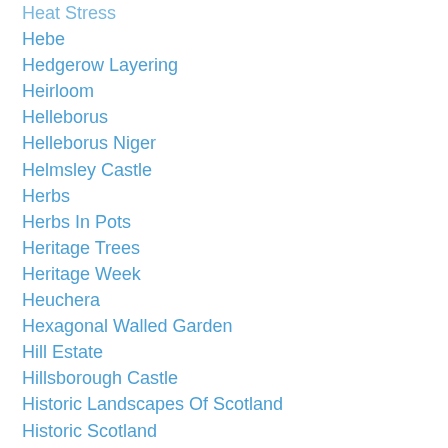Heat Stress
Hebe
Hedgerow Layering
Heirloom
Helleborus
Helleborus Niger
Helmsley Castle
Herbs
Herbs In Pots
Heritage Trees
Heritage Week
Heuchera
Hexagonal Walled Garden
Hill Estate
Hillsborough Castle
Historic Landscapes Of Scotland
Historic Scotland
Holly Blue Angel
Holly Blue Prince
Holly Golden King
Holly Gold Flash